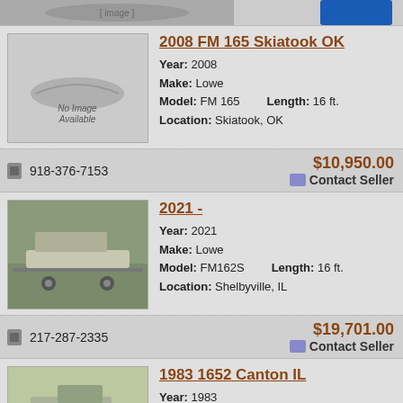[Figure (photo): Top partial image strip showing partial boat photo and blue button]
2008 FM 165 Skiatook OK
Year: 2008
Make: Lowe
Model: FM 165    Length: 16 ft.
Location: Skiatook, OK
[Figure (photo): No Image Available placeholder]
📱 918-376-7153
$10,950.00
≡ Contact Seller
2021 -
Year: 2021
Make: Lowe
Model: FM162S    Length: 16 ft.
Location: Shelbyville, IL
[Figure (photo): Photo of a flatboat on trailer in a shop/building]
📱 217-287-2335
$19,701.00
≡ Contact Seller
1983 1652 Canton IL
Year: 1983
Make: Lowe
Model: 1652    Length: 16 ft.
Location: CANTON, IL
[Figure (photo): Photo of a flatboat on trailer outdoors]
📱 309-647-3421
$5,500.00